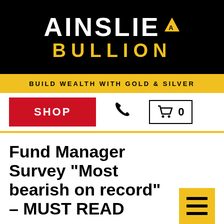[Figure (logo): Ainslie Bullion logo — white bold text 'AINSLIE' with gold triangle symbol on black background, gold bold text 'BULLION' below]
BUILD WEALTH WITH GOLD & SILVER
SHOP
Fund Manager Survey "Most bearish on record" – MUST READ
Posted | 20/06/2019 / Views | 5462